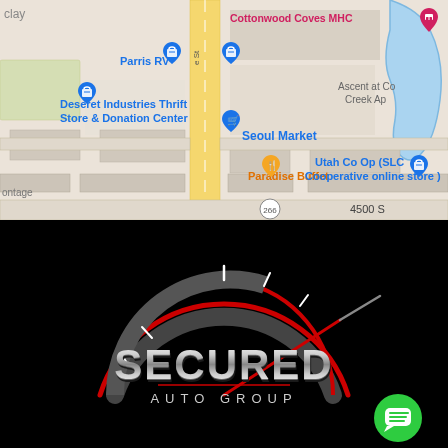[Figure (map): Google Maps screenshot showing area near 4500 S with businesses including Cottonwood Coves MHC, Parris RV, Deseret Industries Thrift Store & Donation Center, Seoul Market, Paradise Buffet, Utah Co Op (SLC Cooperative online store), and Ascent at Co Creek Ap. A yellow vertical road runs through center.]
[Figure (logo): Secured Auto Group logo on black background — stylized speedometer arc in red and dark gray with white tick marks, chrome-effect SECURED text, and AUTO GROUP below. Green chat button in bottom right.]